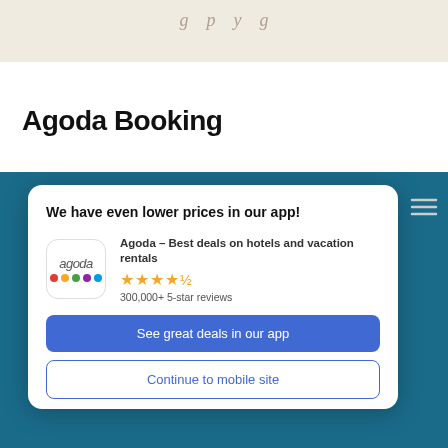...g...p...y...g...
Agoda Booking
[Figure (screenshot): Agoda app promotion modal on a teal background showing app icon, star rating, and two action buttons: 'See great deals in our app' and 'Continue to mobile site']